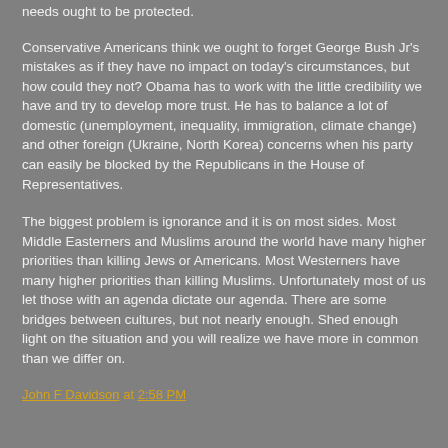needs ought to be protected.
Conservative Americans think we ought to forget George Bush Jr's mistakes as if they have no impact on today's circumstances, but how could they not?  Obama has to work with the little credibility we have and try to develop more trust.  He has to balance a lot of domestic (unemployment, inequality, immigration, climate change) and other foreign (Ukraine, North Korea) concerns when his party can easily be blocked by the Republicans in the House of Representatives.
The biggest problem is ignorance and it is on most sides.  Most Middle Easterners and Muslims around the world have many higher priorities than killing Jews or Americans.  Most Westerners have many higher priorities than killing Muslims.  Unfortunately most of us let those with an agenda dictate our agenda.  There are some bridges between cultures, but not nearly enough.  Shed enough light on the situation and you will realize we have more in common than we differ on.
John F Davidson at 2:58 PM